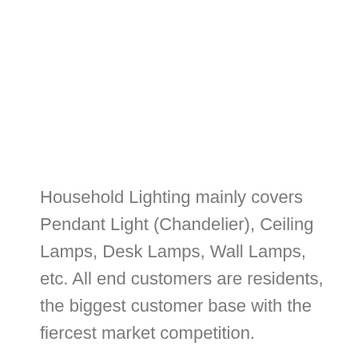Household Lighting mainly covers Pendant Light (Chandelier), Ceiling Lamps, Desk Lamps, Wall Lamps, etc. All end customers are residents, the biggest customer base with the fiercest market competition.
Material selection affects the lights' life span. Here are 5 common materials.